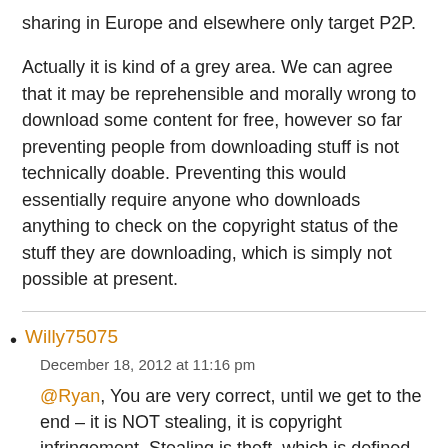sharing in Europe and elsewhere only target P2P.

Actually it is kind of a grey area. We can agree that it may be reprehensible and morally wrong to download some content for free, however so far preventing people from downloading stuff is not technically doable. Preventing this would essentially require anyone who downloads anything to check on the copyright status of the stuff they are downloading, which is simply not possible at present.
Willy75075
December 18, 2012 at 11:16 pm
@Ryan, You are very correct, until we get to the end – it is NOT stealing, it is copyright infringement. Stealing is theft, which is defined as